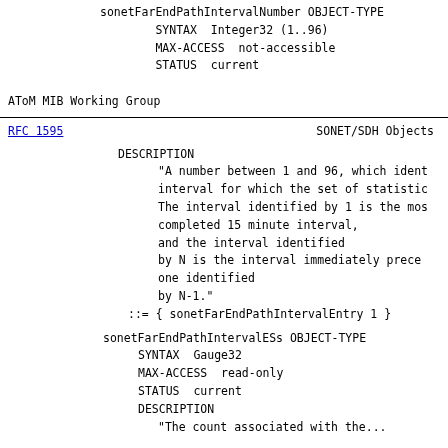sonetFarEndPathIntervalNumber OBJECT-TYPE
    SYNTAX  Integer32 (1..96)
    MAX-ACCESS  not-accessible
    STATUS  current
AToM MIB Working Group
RFC 1595                    SONET/SDH Objects
DESCRIPTION
    "A number between 1 and 96, which ident
    interval for which the set of statistic
    The interval identified by 1 is the mos
    completed 15 minute interval,
    and the interval identified
    by N is the interval immediately prece
    one identified
    by N-1."
::= { sonetFarEndPathIntervalEntry 1 }
sonetFarEndPathIntervalESs OBJECT-TYPE
    SYNTAX  Gauge32
    MAX-ACCESS  read-only
    STATUS  current
    DESCRIPTION
    "The count associated with the...